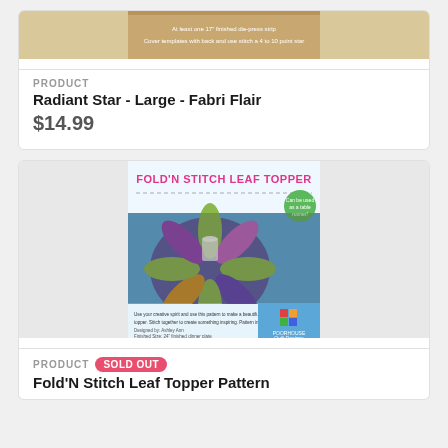[Figure (photo): Product image for Radiant Star - Large - Fabri Flair, showing a quilted star pattern with small text.]
PRODUCT
Radiant Star - Large - Fabri Flair
$14.99
[Figure (photo): Product image for Fold'N Stitch Leaf Topper Pattern showing a flower/leaf shaped quilted table topper with a glass candle on a metal table. Title reads FOLD'N STITCH LEAF TOPPER.]
PRODUCT
SOLD OUT
Fold'N Stitch Leaf Topper Pattern